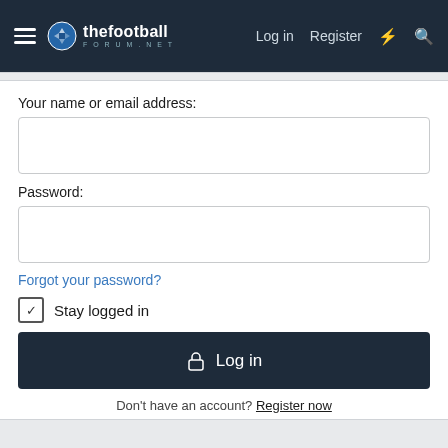thefootballforum.net — Log in | Register
Your name or email address:
Password:
Forgot your password?
Stay logged in
Log in
Don't have an account? Register now
Forum statistics
Threads: 16,033